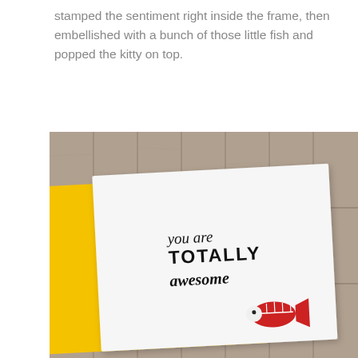stamped the sentiment right inside the frame, then embellished with a bunch of those little fish and popped the kitty on top.
[Figure (photo): Photo of an open greeting card on a wooden background. The card has a yellow folder/holder and a white inner card with the stamped text 'you are TOTALLY awesome' in mixed cursive and bold lettering, with a small red fish embellishment in the lower right corner.]